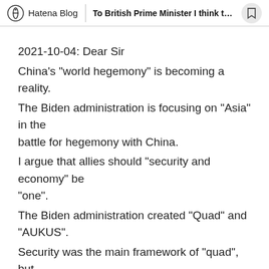Hatena Blog | To British Prime Minister I think the...
2021-10-04: Dear Sir
China's "world hegemony" is becoming a reality.
The Biden administration is focusing on "Asia" in the battle for hegemony with China.
I argue that allies should "security and economy" be "one".
The Biden administration created "Quad" and "AUKUS".
Security was the main framework of "quad", but "economic security" is emphasized.
With a military focus on "AUKUS,"
the United States has decided to provide Australia with technology to build a "nuclear submarine."
Behind this, we can see the aim of exporting "small